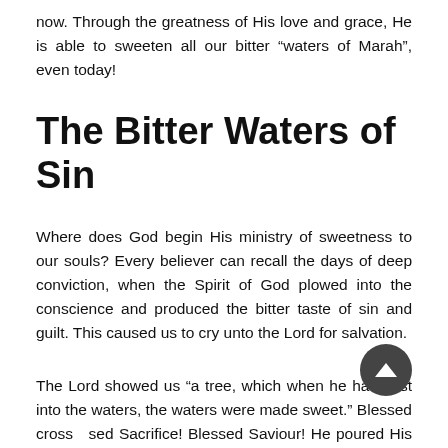now. Through the greatness of His love and grace, He is able to sweeten all our bitter “waters of Marah”, even today!
The Bitter Waters of Sin
Where does God begin His ministry of sweetness to our souls? Every believer can recall the days of deep conviction, when the Spirit of God plowed into the conscience and produced the bitter taste of sin and guilt. This caused us to cry unto the Lord for salvation.
The Lord showed us “a tree, which when he had cast into the waters, the waters were made sweet.” Blessed cross…sed Sacrifice! Blessed Saviour! He poured His love and g…nto our wounded souls, washing away our sin and guilt before a holy God, cleansing us through His precious blood!